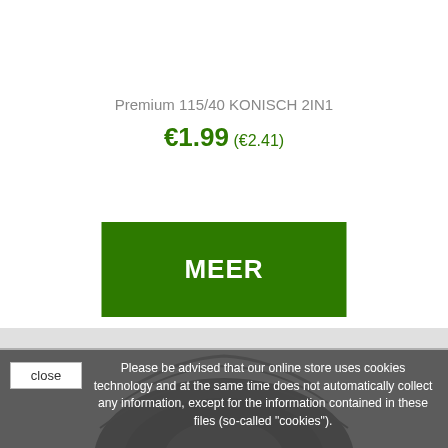Premium 115/40 KONISCH 2IN1
€1.99 (€2.41)
[Figure (other): Green MEER button]
[Figure (photo): Product photo of a wheel/tire partially visible at bottom]
Please be advised that our online store uses cookies technology and at the same time does not automatically collect any information, except for the information contained in these files (so-called "cookies").